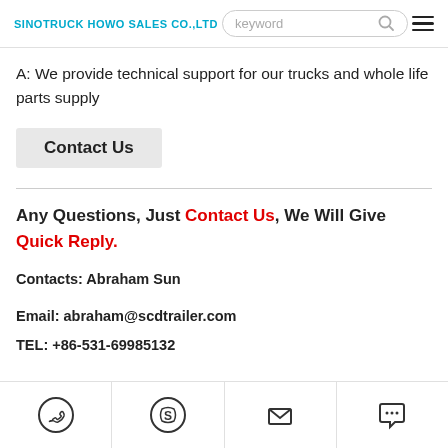SINOTRUCK HOWO SALES CO.,LTD
A: We provide technical support for our trucks and whole life parts supply
Contact Us
Any Questions, Just Contact Us, We Will Give Quick Reply.
Contacts: Abraham Sun
Email: abraham@scdtrailer.com
TEL: +86-531-69985132
[Figure (infographic): Bottom navigation bar with four icons: WhatsApp phone, Skype, Email envelope, Chat bubble with ellipsis]